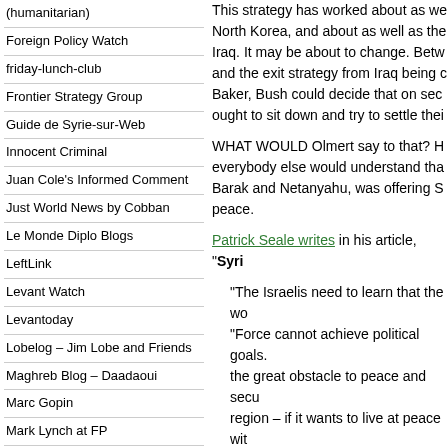(humanitarian)
Foreign Policy Watch
friday-lunch-club
Frontier Strategy Group
Guide de Syrie-sur-Web
Innocent Criminal
Juan Cole's Informed Comment
Just World News by Cobban
Le Monde Diplo Blogs
LeftLink
Levant Watch
Levantoday
Lobelog – Jim Lobe and Friends
Maghreb Blog – Daadaoui
Marc Gopin
Mark Lynch at FP
Mid East Soccer – Dorsey
Middle East Clarity
MidEast Brief – Dan Siskin
Mideast Policy
Missing Links by Badger
Mona Eltahawy
Mondoweiss by Philip Weiss
Nir Rosen on Syria
Nur al-Cubicle
On Olives and Sake (Yazan
This strategy has worked about as well as it has with North Korea, and about as well as the U.S. strategy in Iraq. It may be about to change. Between the ISG report and the exit strategy from Iraq being crafted by James Baker, Bush could decide that on second thought, Syria ought to sit down and try to settle their differences.
WHAT WOULD Olmert say to that? He knows as well as everybody else would understand that Israel, under Barak and Netanyahu, was offering Syria a deal and peace.
Patrick Seale writes in his article, "Syri
"The Israelis need to learn that the wo... "Force cannot achieve political goals. ...the great obstacle to peace and secu... region – if it wants to live at peace wi... terms with the new realities. Peace ca... everyone. We in Syria want to play a ...
The Syrians have great hopes that Ja... chairman of America's bipartisan Iraq... Bush extricate the United States from... policy towards the whole region. The ... term elections has encouraged expec... aim in the Middle East.